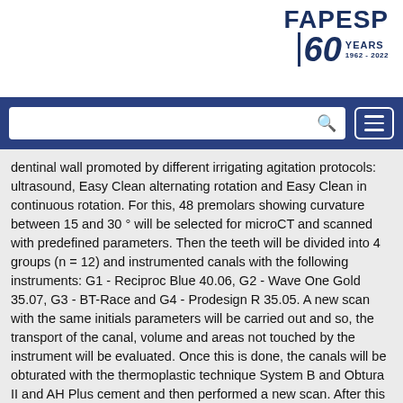[Figure (logo): FAPESP 60 Years 1962-2022 logo in dark navy blue]
dentinal wall promoted by different irrigating agitation protocols: ultrasound, Easy Clean alternating rotation and Easy Clean in continuous rotation. For this, 48 premolars showing curvature between 15 and 30 ° will be selected for microCT and scanned with predefined parameters. Then the teeth will be divided into 4 groups (n = 12) and instrumented canals with the following instruments: G1 - Reciproc Blue 40.06, G2 - Wave One Gold 35.07, G3 - BT-Race and G4 - Prodesign R 35.05. A new scan with the same initials parameters will be carried out and so, the transport of the canal, volume and areas not touched by the instrument will be evaluated. Once this is done, the canals will be obturated with the thermoplastic technique System B and Obtura II and AH Plus cement and then performed a new scan. After this procedure, canals will be submitted to endodontic retreatment with the same systems used in chemical-mechanical preparation. After the retreatment, a new scan will be performed to then carry out a new retreatment procedure, however, with an additional instrument of